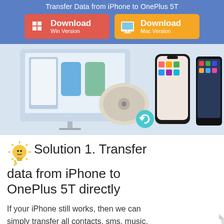Transfer Data from iPhone to OnePlus 5T
[Figure (screenshot): Two download buttons side by side: red 'Download Win Version' with Windows logo, and orange 'Download Mac Version' with Mac Finder logo]
[Figure (illustration): Software interface illustration showing a desktop monitor with phone transfer UI, a hard drive with refresh icon, an iPhone X and a Samsung/OnePlus phone]
Solution 1. Transfer data from iPhone to OnePlus 5T directly
If your iPhone still works, then we can simply transfer all contacts, sms, music,